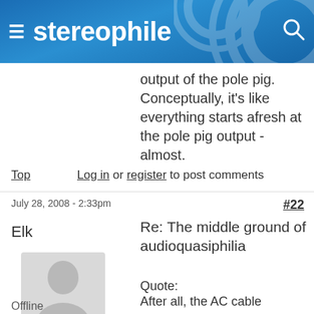[Figure (screenshot): Stereophile website header with hamburger menu icon, site name 'stereophile', and search icon on blue gradient background]
output of the pole pig. Conceptually, it's like everything starts afresh at the pole pig output - almost.
Top   Log in or register to post comments
July 28, 2008 - 2:33pm   #22
Elk
Re: The middle ground of audioquasiphilia
[Figure (illustration): Default user avatar - grey silhouette of a person on light grey background]
Quote:
After all, the AC cable
Offline